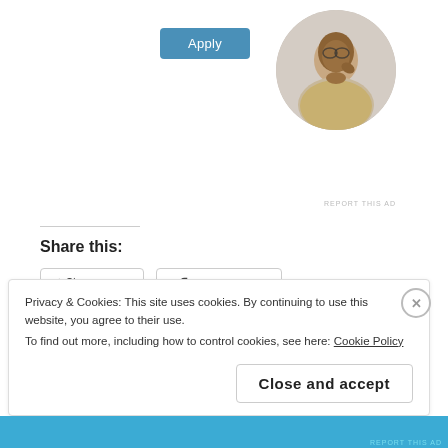[Figure (other): Apply button (blue rounded rectangle) and circular profile photo of a man thinking]
REPORT THIS AD
Share this:
Twitter  Facebook
Loading...
Privacy & Cookies: This site uses cookies. By continuing to use this website, you agree to their use.
To find out more, including how to control cookies, see here: Cookie Policy
Close and accept